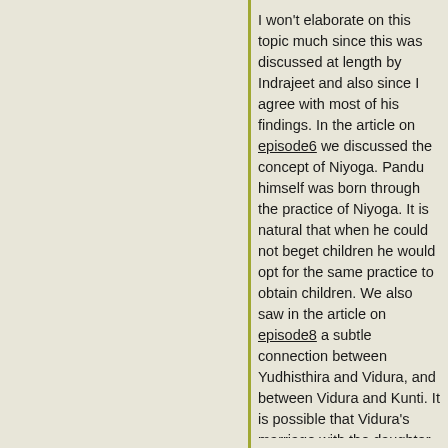I won't elaborate on this topic much since this was discussed at length by Indrajeet and also since I agree with most of his findings. In the article on episode6 we discussed the concept of Niyoga. Pandu himself was born through the practice of Niyoga. It is natural that when he could not beget children he would opt for the same practice to obtain children. We also saw in the article on episode8 a subtle connection between Yudhisthira and Vidura, and between Vidura and Kunti. It is possible that Vidura's marriage with the daughter of Devaka which I had discussed in the article on episode8 occurred soon after Pandu's marriage with Kunti. That will be the third year since Pandu ascended the throne. By the time Pandu left to forest to cure his impotency (first half of the fifth year), Vidura would have become a successful father after two and a half years of married life. By the time Pandu was contemplating about the route of Niyoga for obtaining children, Vidura's married life would be three years old and he would have become a father of two children. Mbh.1.114:- Vidura begot upon her (daughter of king Devaka) many children like unto himself in accomplishments. Pandu might have seriously thought about his brother Vidura for accomplishing Niyoga.
Conversation between Pandu and Kunti